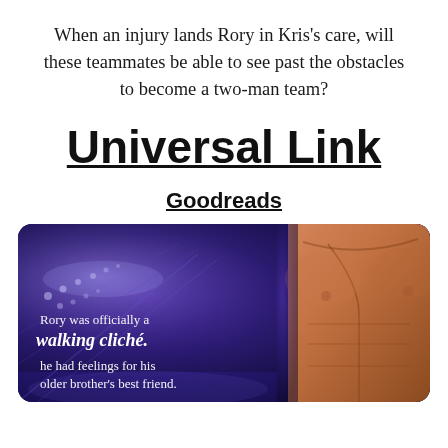When an injury lands Rory in Kris's care, will these teammates be able to see past the obstacles to become a two-man team?
Universal Link
Goodreads
[Figure (photo): Promotional book image with a dark purple hockey arena background on the left and a muscular male torso on the right. Text overlay reads: 'Rory was officially a walking cliché. he had feelings for his older brother's best friend.']